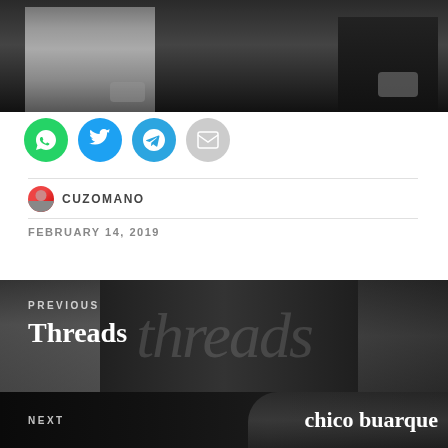[Figure (photo): Partial view of two people standing, showing only their lower bodies and hands. Dark background. One person wears grey/silver pants, the other wears a dark jacket.]
[Figure (infographic): Row of four circular social sharing buttons: WhatsApp (green), Twitter (blue), Telegram (blue), Email (grey)]
CUZOMANO
FEBRUARY 14, 2019
[Figure (photo): Navigation previous post area with dark background showing decorative 'threads' text watermark and a previous post label with title 'Threads']
PREVIOUS
Threads
NEXT